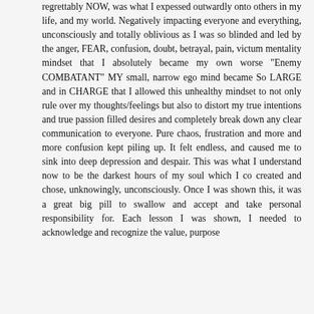regrettably NOW, was what I expessed outwardly onto others in my life, and my world. Negatively impacting everyone and everything, unconsciously and totally oblivious as I was so blinded and led by the anger, FEAR, confusion, doubt, betrayal, pain, victum mentality mindset that I absolutely became my own worse "Enemy COMBATANT" MY small, narrow ego mind became So LARGE and in CHARGE that I allowed this unhealthy mindset to not only rule over my thoughts/feelings but also to distort my true intentions and true passion filled desires and completely break down any clear communication to everyone. Pure chaos, frustration and more and more confusion kept piling up. It felt endless, and caused me to sink into deep depression and despair. This was what I understand now to be the darkest hours of my soul which I co created and chose, unknowingly, unconsciously. Once I was shown this, it was a great big pill to swallow and accept and take personal responsibility for. Each lesson I was shown, I needed to acknowledge and recognize the value, purpose